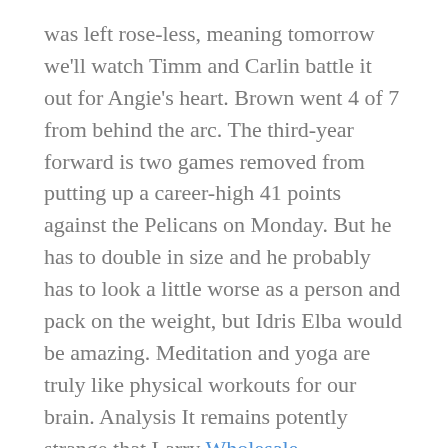was left rose-less, meaning tomorrow we'll watch Timm and Carlin battle it out for Angie's heart. Brown went 4 of 7 from behind the arc. The third-year forward is two games removed from putting up a career-high 41 points against the Pelicans on Monday. But he has to double in size and he probably has to look a little worse as a person and pack on the weight, but Idris Elba would be amazing. Meditation and yoga are truly like physical workouts for our brain. Analysis It remains potently strange that Larry Wholesale Indianapolis Colts Jerseys Bird, three-time MVP and wholesale jerseys something like the sixth-best player of all-time, breezed through Indiana, organized one of the best teams Cheap Los Angeles Chargers Jerseys in the league, and then quietly walked away from Cheap NFL Jerseys Nike a profession nobody knew he would be good at or even wanted to pursue in the first place. The role players who did Basketball Jerseys